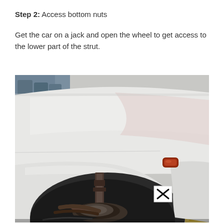Step 2: Access bottom nuts
Get the car on a jack and open the wheel to get access to the lower part of the strut.
[Figure (photo): Photo of a white car raised on a jack with the wheel removed, showing the lower strut assembly and brake components visible in the wheel well. A small X marker is visible on the fender near the wheel arch.]